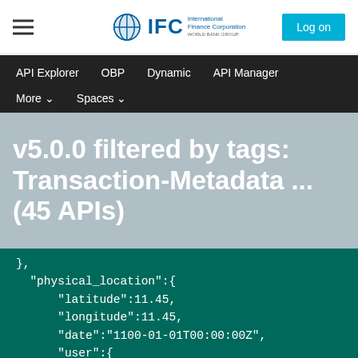IFC International Finance Corporation — Log on
API Explorer   OBP   Dynamic   API Manager   More   Spaces
v5.0.0 filtered by tags: Transaction-Metadata ... (45 APIs)
[Figure (screenshot): Code block showing JSON with physical_location object containing latitude: 11.45, longitude: 11.45, date: "1100-01-01T00:00:00Z", user: { id: "123", provider: "http://127.0.0.1:808]